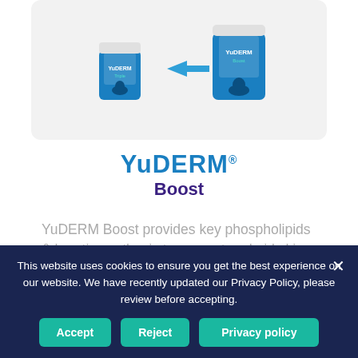[Figure (illustration): Two YuDERM product jars (small and large) with a blue arrow pointing from the smaller jar to the larger jar, shown on a light grey rounded background.]
YuDERM® Boost
YuDERM Boost provides key phospholipids & keratin synthesis to support and aid skin
This website uses cookies to ensure you get the best experience on our website. We have recently updated our Privacy Policy, please review before accepting.